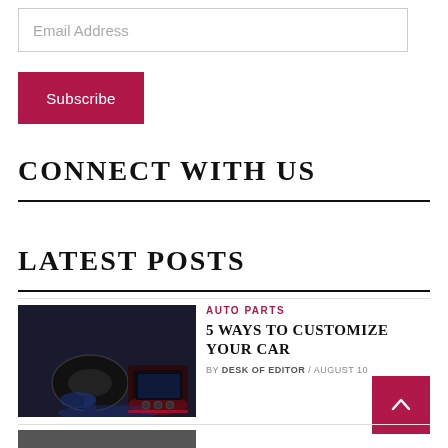Email Address
Subscribe
CONNECT WITH US
LATEST POSTS
[Figure (photo): Car interior dashboard with steering wheel and center console with ambient red/blue lighting]
AUTO PARTS
5 WAYS TO CUSTOMIZE YOUR CAR
BY DESK OF EDITOR / AUGUST 10